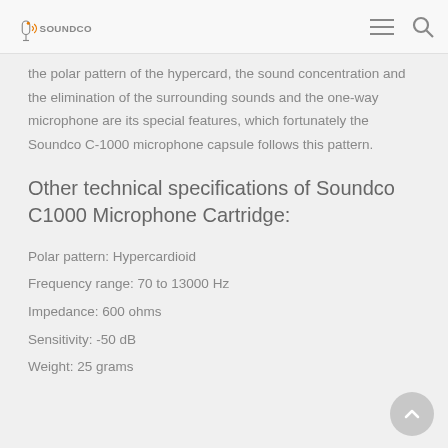SOUNDCO
the polar pattern of the hypercard, the sound concentration and the elimination of the surrounding sounds and the one-way microphone are its special features, which fortunately the Soundco C-1000 microphone capsule follows this pattern.
Other technical specifications of Soundco C1000 Microphone Cartridge:
Polar pattern: Hypercardioid
Frequency range: 70 to 13000 Hz
Impedance: 600 ohms
Sensitivity: -50 dB
Weight: 25 grams